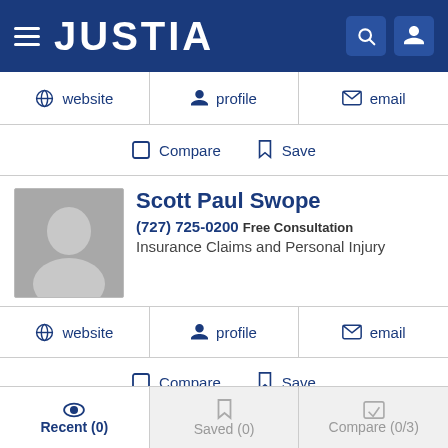JUSTIA
website  profile  email
Compare  Save
Scott Paul Swope
(727) 725-0200  Free Consultation
Insurance Claims and Personal Injury
website  profile  email
Compare  Save
Scott A. Kelly
Recent (0)  Saved (0)  Compare (0/3)